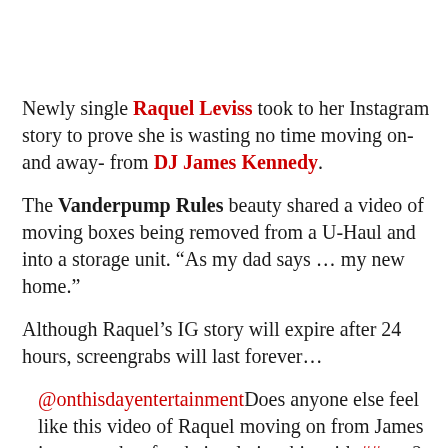Newly single Raquel Leviss took to her Instagram story to prove she is wasting no time moving on- and away- from DJ James Kennedy.
The Vanderpump Rules beauty shared a video of moving boxes being removed from a U-Haul and into a storage unit. “As my dad says … my new home.”
Although Raquel’s IG story will expire after 24 hours, screengrabs will last forever…
@onthisdayentertainmentDoes anyone else feel like this video of Raquel moving on from James is a metaphor for their relationship with ##vpr ? ##vanderpumprules ##otde ##jameskennedy##raquelleviss ##djjameskennedy ##kennedy